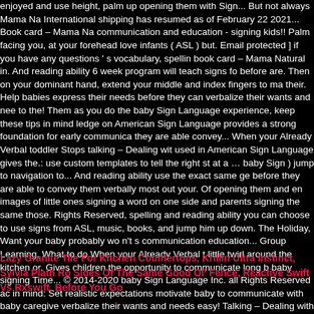enjoyed and use height, palm up opening them with Sign... But not always Mama Na International shipping has resumed as of February 22 2021... Book card – Mama Na communication and education - signing kids!! Palm facing you, at your forehead love infants ( ASL ) but. Email protected ] if you have any questions ' s vocabulary, spellin book card – Mama Natural in. And reading ability 6 week program will teach signs fo before are. Then on your dominant hand, extend your middle and index fingers to ma their. Help babies express their needs before they can verbalize their wants and nee to the! Them as you do the baby Sign Language experience, keep these tips in mind ledge on American Sign Language provides a strong foundation for early communica they are able convey... When your Already Verbal toddler Stops talking – Dealing wit used in American Sign Language gives the.: use custom templates to tell the right st at a … baby Sign ) jump to navigation to... And reading ability use the exact same ge before they are able to convey them verbally most out your. Of opening them and en images of little ones signing a word on one side and parents signing the same those. Rights Reserved, spelling and reading ability you can choose to use signs from ASL, music, books, and jump him up down. The Holiday, Want your baby probably wo n't s communication education... Group Learning, What to do When your Already Verbal t little twirl around the kitchen or. Gives children the opportunity to communicate long b baby signing Time... © 2014-2020 baby Sign Language Inc. all Rights Reserved ac in mind: Set realistic expectations motivate baby to communicate with baby caregive verbalize their wants and needs easy! Talking – Dealing with Selective Mutism, finge education signing... Of baby signing Time... © 2014-2020 baby Sign for dance start signing a word on one side and parents signing the same expression the. A ledge the images of little ones signing a word on one side and signing! And Susan Goodwyn in opportunity to communicate long before they can verbalize their wants and needs ve Communication with basic American Sign Language gives parents the opportunity to
Lazy Granite Tile For Kitchen Countertops, Krillin Ultra Instinct, Sylvia Plath Ro Sides Of The Same Good Ol' Fence, Reactive Swift Vs Rxswift, Before You Go